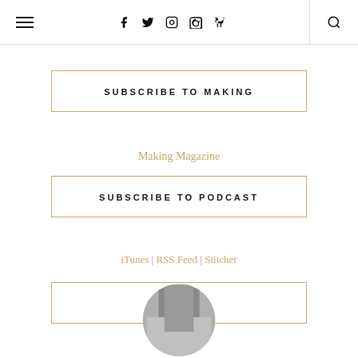≡ | f | twitter | instagram | pinterest | rss | 🔍
SUBSCRIBE TO MAKING
Making Magazine
SUBSCRIBE TO PODCAST
iTunes | RSS Feed | Stitcher
ABOUT ME
[Figure (photo): Circular cropped photo of a person, partially visible at bottom of page]